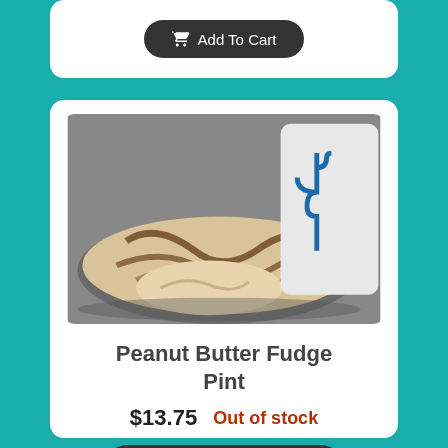[Figure (other): Partial e-commerce card with Add To Cart button visible at top]
[Figure (photo): Photo of peanut butter fudge ice cream being mixed in a pan, with a white paddle/spatula visible]
Peanut Butter Fudge Pint
$13.75  Out of stock
Read More